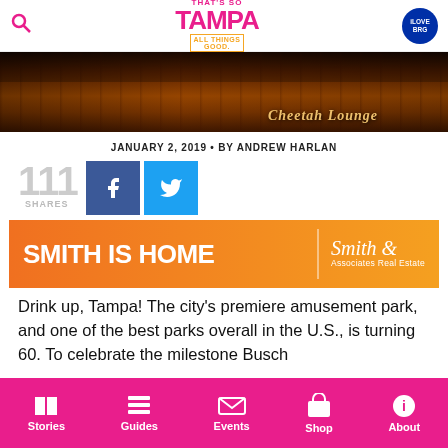That's So Tampa — All Things Good
[Figure (photo): Dark warm-toned photo of a restaurant or bar interior with neon-style signage, possibly 'Cheetah Lounge', with ambient orange and red lighting]
JANUARY 2, 2019 • BY ANDREW HARLAN
111 SHARES
[Figure (illustration): Smith Is Home advertisement banner — orange gradient background with white text 'SMITH IS HOME' and Smith & Associates Real Estate logo]
Drink up, Tampa! The city's premiere amusement park, and one of the best parks overall in the U.S., is turning 60. To celebrate the milestone Busch
Stories  Guides  Events  Shop  About